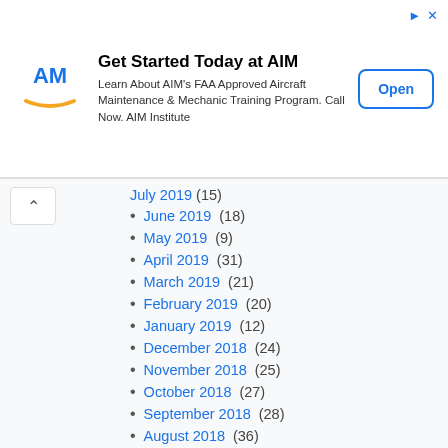[Figure (other): AIM Institute advertisement banner with logo, text and Open button]
July 2019 (15)
June 2019 (18)
May 2019 (9)
April 2019 (31)
March 2019 (21)
February 2019 (20)
January 2019 (12)
December 2018 (24)
November 2018 (25)
October 2018 (27)
September 2018 (28)
August 2018 (36)
July 2018 (29)
June 2018 (27)